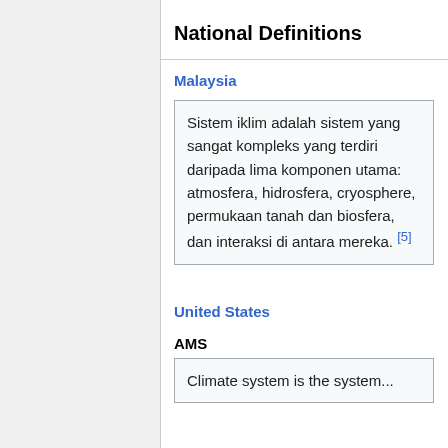National Definitions
Malaysia
Sistem iklim adalah sistem yang sangat kompleks yang terdiri daripada lima komponen utama: atmosfera, hidrosfera, cryosphere, permukaan tanah dan biosfera, dan interaksi di antara mereka. [5]
United States
AMS
Climate system is the system...